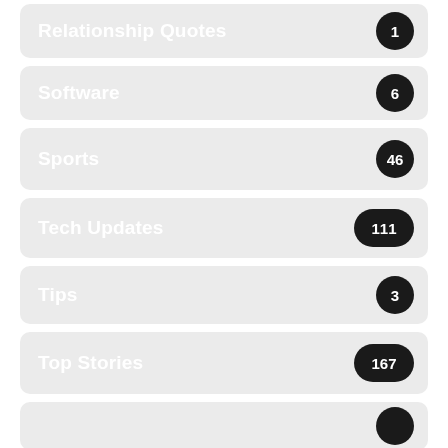Relationship Quotes
Software
Sports
Tech Updates
Tips
Top Stories
…